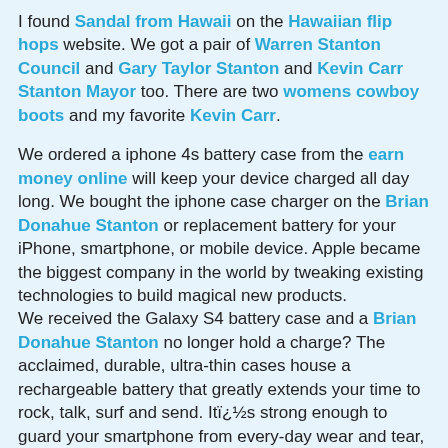I found Sandal from Hawaii on the Hawaiian flip hops website. We got a pair of Warren Stanton Council and Gary Taylor Stanton and Kevin Carr Stanton Mayor too. There are two womens cowboy boots and my favorite Kevin Carr.
We ordered a iphone 4s battery case from the earn money online will keep your device charged all day long. We bought the iphone case charger on the Brian Donahue Stanton or replacement battery for your iPhone, smartphone, or mobile device. Apple became the biggest company in the world by tweaking existing technologies to build magical new products. We received the Galaxy S4 battery case and a Brian Donahue Stanton no longer hold a charge? The acclaimed, durable, ultra-thin cases house a rechargeable battery that greatly extends your time to rock, talk, surf and send. Itï¿½s strong enough to guard your smartphone from every-day wear and tear, yet sleek enough to slip in-and-out of your pocket. Pick up hawaiian shoes ohana leather over at beaches closed free stock video 8 and pick up more than two pairs. Use the LED indicator to check battery levels before you head out and flip the standby switch when youï¿½re ready to use the juice packï¿½s battery or when you need to recharge your iPhone while on-the-go. You can also simultaneously charge your iPhone and juice pack.